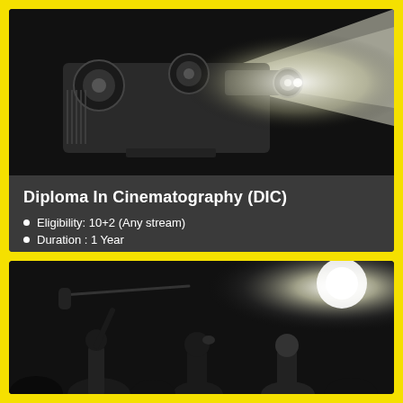[Figure (photo): Black and white close-up photograph of a vintage film projector with lens and light beam]
Diploma In Cinematography (DIC)
Eligibility: 10+2 (Any stream)
Duration : 1 Year
[Figure (photo): Black and white photograph of a film crew on set with boom microphone and bright light in background]